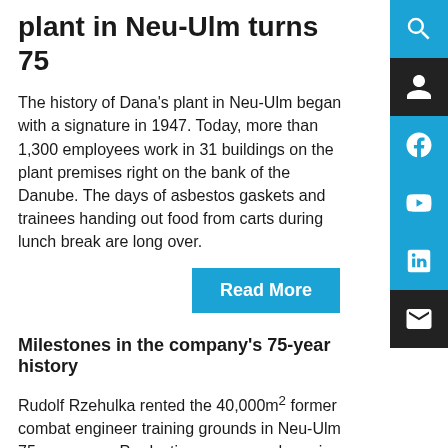plant in Neu-Ulm turns 75
The history of Dana's plant in Neu-Ulm began with a signature in 1947. Today, more than 1,300 employees work in 31 buildings on the plant premises right on the bank of the Danube. The days of asbestos gaskets and trainees handing out food from carts during lunch break are long over.
Read More
Milestones in the company's 75-year history
Rudolf Rzehulka rented the 40,000m² former combat engineer training grounds in Neu-Ulm 75 years ago. Production was up and running by the end of 1948 and the plant was already shipping out its first gaskets. By the time the Federal Republic of Germany was established in 1949, the company had already become the exclusive supplier for Mercedes-Benz and Volkswagen. By the 1950s, the Neu-Ulm production plant already offered 1,000 gasket sets from…